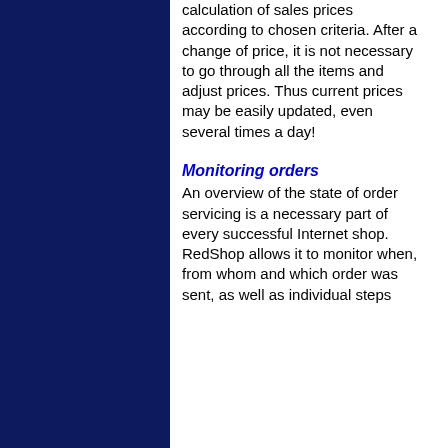calculation of sales prices according to chosen criteria. After a change of price, it is not necessary to go through all the items and adjust prices. Thus current prices may be easily updated, even several times a day!
Monitoring orders
An overview of the state of order servicing is a necessary part of every successful Internet shop. RedShop allows it to monitor when, from whom and which order was sent, as well as individual steps